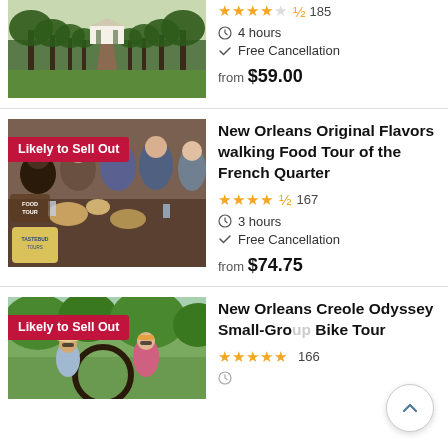[Figure (photo): Photo of a plantation house with tree-lined pathway]
★★★★½ 185
⏱ 4 hours
✓ Free Cancellation
from $59.00
[Figure (photo): Group of women at a food tour table, Likely to Sell Out badge]
New Orleans Original Flavors walking Food Tour of the French Quarter
★★★★½ 167
⏱ 3 hours
✓ Free Cancellation
from $74.75
[Figure (photo): Two women outdoors on a bike tour, Likely to Sell Out badge]
New Orleans Creole Odyssey Small-Group Bike Tour
★★★★★ 166